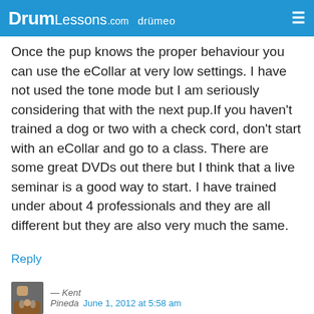DrumLessons.com drumeo
Once the pup knows the proper behaviour you can use the eCollar at very low settings. I have not used the tone mode but I am seriously considering that with the next pup.If you haven't trained a dog or two with a check cord, don't start with an eCollar and go to a class. There are some great DVDs out there but I think that a live seminar is a good way to start. I have trained under about 4 professionals and they are all different but they are also very much the same.
Reply
— Kent Pineda   June 1, 2012 at 5:58 am
Great job for DESTROYING Jared's china Mike..